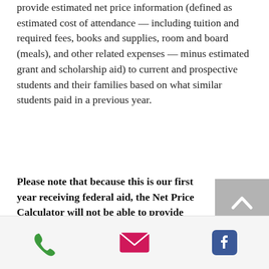provide estimated net price information (defined as estimated cost of attendance — including tuition and required fees, books and supplies, room and board (meals), and other related expenses — minus estimated grant and scholarship aid) to current and prospective students and their families based on what similar students paid in a previous year.
Please note that because this is our first year receiving federal aid, the Net Price Calculator will not be able to provide you with estimated aid based on past enrollment statistics.
[Figure (other): Footer bar with phone, email (envelope), and Facebook icons]